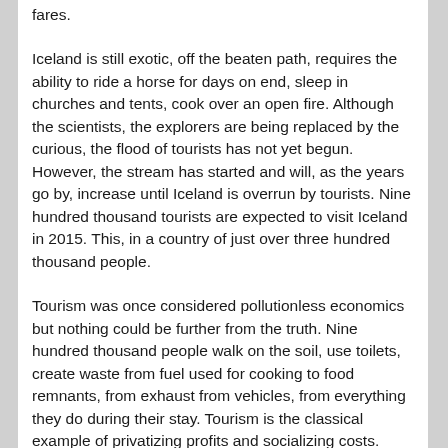fares.
Iceland is still exotic, off the beaten path, requires the ability to ride a horse for days on end, sleep in churches and tents, cook over an open fire. Although the scientists, the explorers are being replaced by the curious, the flood of tourists has not yet begun. However, the stream has started and will, as the years go by, increase until Iceland is overrun by tourists. Nine hundred thousand tourists are expected to visit Iceland in 2015. This, in a country of just over three hundred thousand people.
Tourism was once considered pollutionless economics but nothing could be further from the truth. Nine hundred thousand people walk on the soil, use toilets, create waste from fuel used for cooking to food remnants, from exhaust from vehicles, from everything they do during their stay. Tourism is the classical example of privatizing profits and socializing costs. Those people who benefit from tourists, tour operators, airlines, restaurants, gift shops, and others make the profits but everyone pays to deal with tourist pollution.